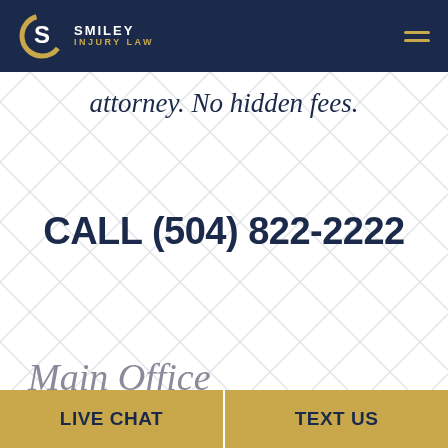Smiley Injury Law
attorney. No hidden fees.
CALL (504) 822-2222
Main Office
LIVE CHAT
TEXT US